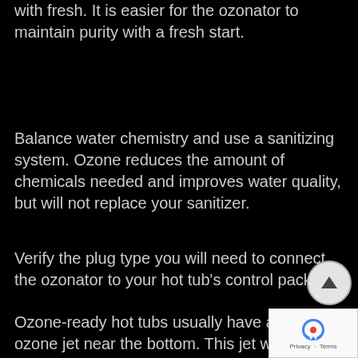with fresh. It is easier for the ozonator to maintain purity with a fresh start.
Balance water chemistry and use a sanitizing system. Ozone reduces the amount of chemicals needed and improves water quality, but will not replace your sanitizer.
Verify the plug type you will need to connect the ozonator to your hot tub's control pack.
Ozone-ready hot tubs usually have a small ozone jet near the bottom. This jet will have a water port, and an air (ozone) port. When no ozonator is present, the jet acts as a